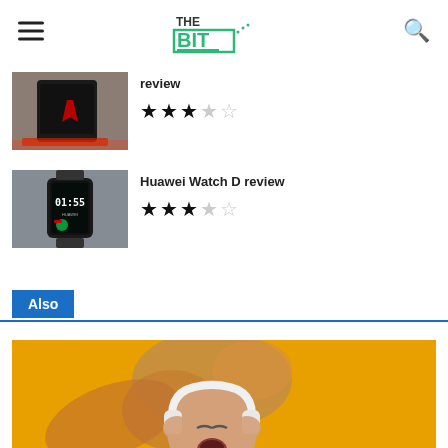THE BIT
review ★★★☆☆
[Figure (photo): Gaming PC tower with red LED lighting against a brick wall background]
Huawei Watch D review ★★★☆☆
[Figure (photo): Huawei Watch D smartwatch showing time 01:55 on its display]
Also
[Figure (photo): Young woman with long hair wearing white headphones against yellow background, singing and enjoying music]